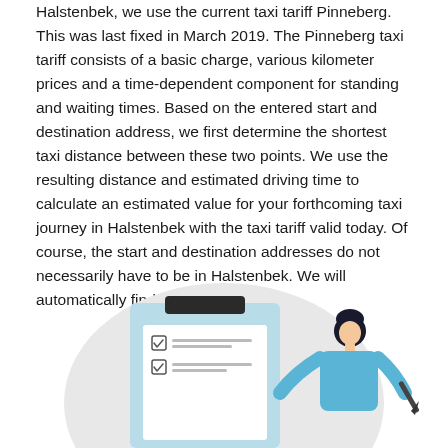Halstenbek, we use the current taxi tariff Pinneberg. This was last fixed in March 2019. The Pinneberg taxi tariff consists of a basic charge, various kilometer prices and a time-dependent component for standing and waiting times. Based on the entered start and destination address, we first determine the shortest taxi distance between these two points. We use the resulting distance and estimated driving time to calculate an estimated value for your forthcoming taxi journey in Halstenbek with the taxi tariff valid today. Of course, the start and destination addresses do not necessarily have to be in Halstenbek. We will automatically find the right fare.
[Figure (illustration): Illustration of a person holding a pen, writing on a clipboard/checklist form. The background has a light grey rounded circle. The clipboard is light blue with a dark header bar and checkboxes. The person is dressed in blue.]